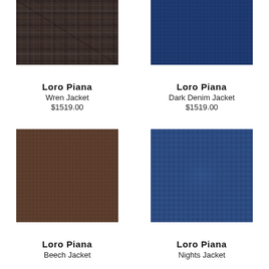[Figure (photo): Brown/dark plaid fabric swatch — Wren Jacket]
Loro Piana
Wren Jacket
$1519.00
[Figure (photo): Navy blue woven fabric swatch — Dark Denim Jacket]
Loro Piana
Dark Denim Jacket
$1519.00
[Figure (photo): Brown/taupe woven fabric swatch — Beech Jacket]
Loro Piana
Beech Jacket
[Figure (photo): Dark blue denim-style fabric swatch — Nights Jacket]
Loro Piana
Nights Jacket